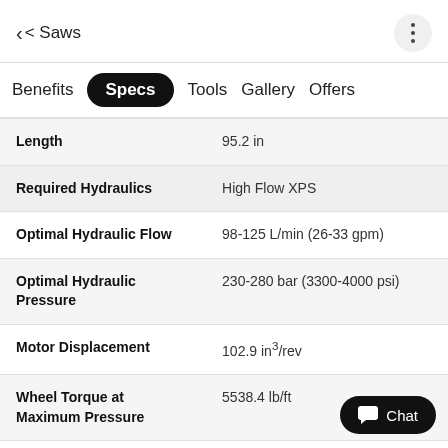< Saws
Benefits  Specs  Tools  Gallery  Offers
| Spec | Value |
| --- | --- |
| Length | 95.2 in |
| Required Hydraulics | High Flow XPS |
| Optimal Hydraulic Flow | 98-125 L/min (26-33 gpm) |
| Optimal Hydraulic Pressure | 230-280 bar (3300-4000 psi) |
| Motor Displacement | 102.9 in³/rev |
| Wheel Torque at Maximum Pressure | 5538.4 lb/ft |
| Wheel Speed at Maximum | 74 RPM |